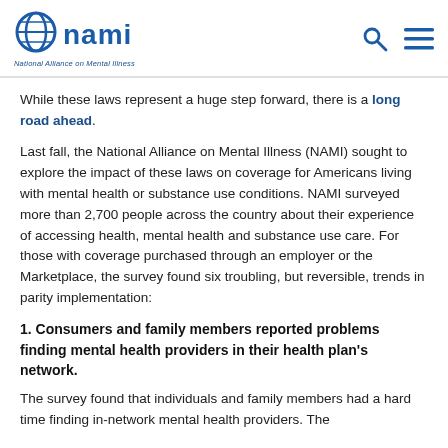NAMI – National Alliance on Mental Illness
While these laws represent a huge step forward, there is a long road ahead.
Last fall, the National Alliance on Mental Illness (NAMI) sought to explore the impact of these laws on coverage for Americans living with mental health or substance use conditions. NAMI surveyed more than 2,700 people across the country about their experience of accessing health, mental health and substance use care. For those with coverage purchased through an employer or the Marketplace, the survey found six troubling, but reversible, trends in parity implementation:
1. Consumers and family members reported problems finding mental health providers in their health plan's network.
The survey found that individuals and family members had a hard time finding in-network mental health providers. The